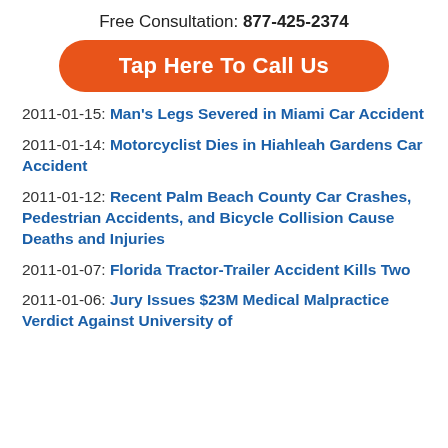Free Consultation: 877-425-2374
Tap Here To Call Us
2011-01-15: Man's Legs Severed in Miami Car Accident
2011-01-14: Motorcyclist Dies in Hiahleah Gardens Car Accident
2011-01-12: Recent Palm Beach County Car Crashes, Pedestrian Accidents, and Bicycle Collision Cause Deaths and Injuries
2011-01-07: Florida Tractor-Trailer Accident Kills Two
2011-01-06: Jury Issues $23M Medical Malpractice Verdict Against University of